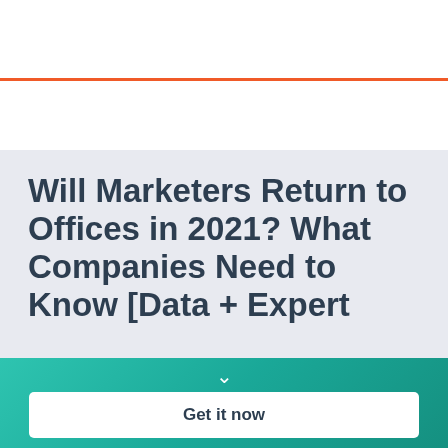HubSpot
[Figure (photo): Person at a laptop, blurred background, cropped banner photo]
Will Marketers Return to Offices in 2021? What Companies Need to Know [Data + Expert
Download Now: How to Be More Productive at Work [Free Guide + Templates]
Get it now